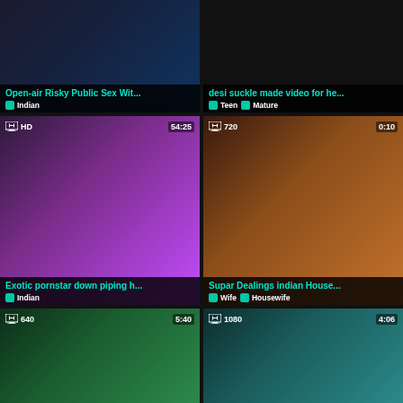[Figure (screenshot): Video thumbnail card: Open-air Risky Public Sex Wit... tagged Indian]
[Figure (screenshot): Video thumbnail card: desi suckle made video for he... tagged Teen, Mature]
[Figure (screenshot): Video thumbnail card HD 54:25: Exotic pornstar down piping h... tagged Indian]
[Figure (screenshot): Video thumbnail card 720 0:10: Supar Dealings indian House... tagged Wife, Housewife]
[Figure (screenshot): Video thumbnail card 640 5:40: partial view]
[Figure (screenshot): Video thumbnail card 1080 4:06: partial view]